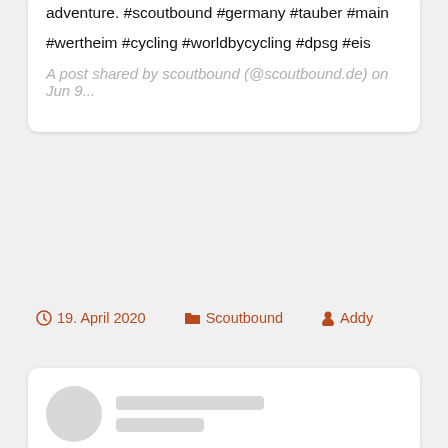adventure. #scoutbound #germany #tauber #main

#wertheim #cycling #worldbycycling #dpsg #eis
A post shared by scoutbound (@scoutbound.de) on Jun 9...
19. April 2020   Scoutbound   Addy
[Figure (other): Loading placeholder card with circular avatar placeholder and two grey loading bar lines]